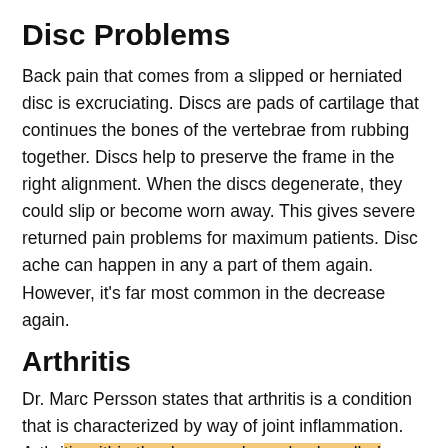Disc Problems
Back pain that comes from a slipped or herniated disc is excruciating. Discs are pads of cartilage that continues the bones of the vertebrae from rubbing together. Discs help to preserve the frame in the right alignment. When the discs degenerate, they could slip or become worn away. This gives severe returned pain problems for maximum patients. Disc ache can happen in any a part of them again. However, it’s far most common in the decrease again.
Arthritis
Dr. Marc Persson states that arthritis is a condition that is characterized by way of joint inflammation. Arthritis within the decrease lower back, called lumbar arthritis